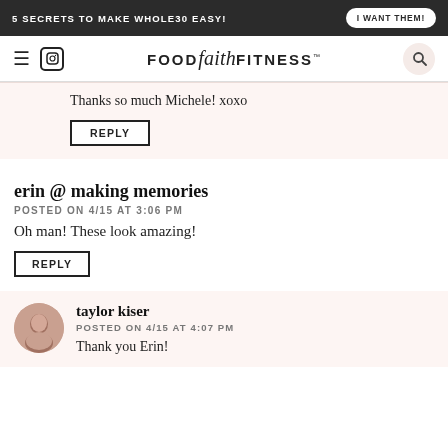5 SECRETS TO MAKE WHOLE30 EASY! | I WANT THEM!
[Figure (logo): Food Faith Fitness logo with hamburger menu and Instagram icon on the left, search icon on the right]
Thanks so much Michele! xoxo
REPLY
erin @ making memories
POSTED ON 4/15 AT 3:06 PM
Oh man! These look amazing!
REPLY
taylor kiser
POSTED ON 4/15 AT 4:07 PM
Thank you Erin!